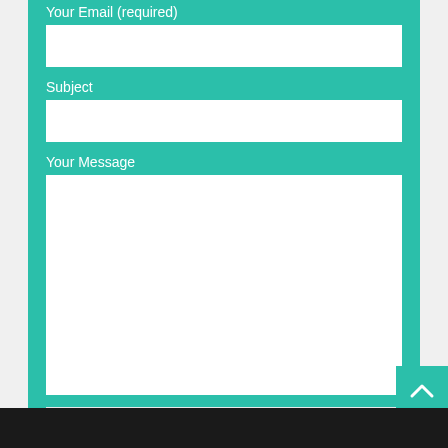Your Email (required)
Subject
Your Message
Send